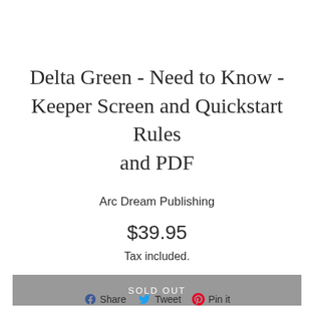Delta Green - Need to Know - Keeper Screen and Quickstart Rules and PDF
Arc Dream Publishing
$39.95
Tax included.
SOLD OUT
Share  Tweet  Pin it